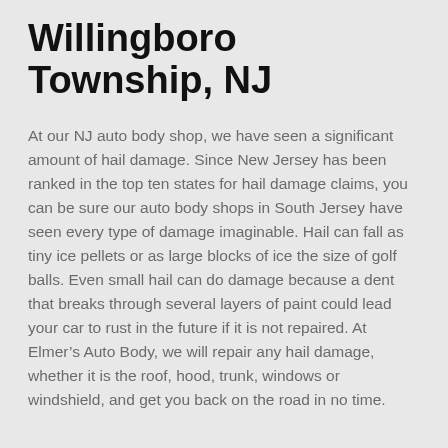Willingboro Township, NJ
At our NJ auto body shop, we have seen a significant amount of hail damage. Since New Jersey has been ranked in the top ten states for hail damage claims, you can be sure our auto body shops in South Jersey have seen every type of damage imaginable. Hail can fall as tiny ice pellets or as large blocks of ice the size of golf balls. Even small hail can do damage because a dent that breaks through several layers of paint could lead your car to rust in the future if it is not repaired. At Elmer’s Auto Body, we will repair any hail damage, whether it is the roof, hood, trunk, windows or windshield, and get you back on the road in no time.